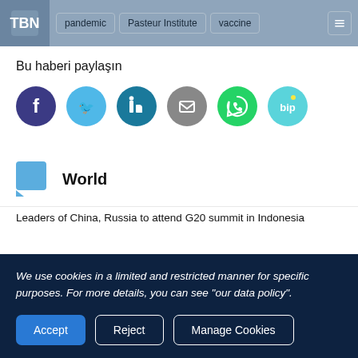pandemic | Pasteur Institute | vaccine
Bu haberi paylaşın
[Figure (other): Row of six social media share icons: Facebook (dark purple), Twitter (light blue), LinkedIn (dark teal), a gray icon, WhatsApp (green), and BiP (cyan logo)]
World
Leaders of China, Russia to attend G20 summit in Indonesia
We use cookies in a limited and restricted manner for specific purposes. For more details, you can see "our data policy".